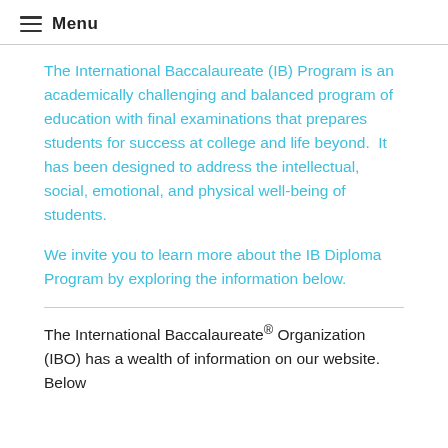Menu
The International Baccalaureate (IB) Program is an academically challenging and balanced program of education with final examinations that prepares students for success at college and life beyond.  It has been designed to address the intellectual, social, emotional, and physical well-being of students.
We invite you to learn more about the IB Diploma Program by exploring the information below.
The International Baccalaureate® Organization (IBO) has a wealth of information on our website.  Below